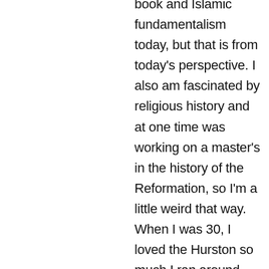book and Islamic fundamentalism today, but that is from today's perspective. I also am fascinated by religious history and at one time was working on a master's in the history of the Reformation, so I'm a little weird that way. When I was 30, I loved the Hurston so much I ran around buying copies for all my friends. I also LOVE Invisible Man.